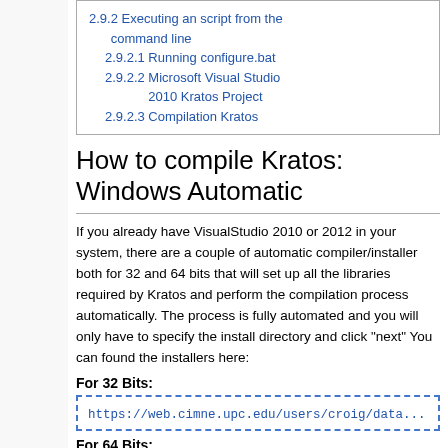2.9.2 Executing an script from the command line
2.9.2.1 Running configure.bat
2.9.2.2 Microsoft Visual Studio 2010 Kratos Project
2.9.2.3 Compilation Kratos
How to compile Kratos: Windows Automatic
If you already have VisualStudio 2010 or 2012 in your system, there are a couple of automatic compiler/installer both for 32 and 64 bits that will set up all the libraries required by Kratos and perform the compilation process automatically. The process is fully automated and you will only have to specify the install directory and click "next" You can found the installers here:
For 32 Bits:
https://web.cimne.upc.edu/users/croig/data...
For 64 Bits: